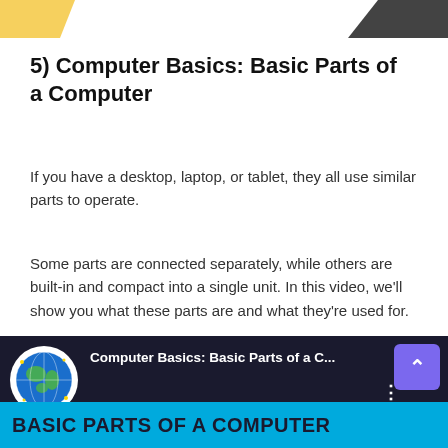[Figure (illustration): Decorative top strip with yellow shape on the left and dark laptop image on the right]
5) Computer Basics: Basic Parts of a Computer
If you have a desktop, laptop, or tablet, they all use similar parts to operate.
Some parts are connected separately, while others are built-in and compact into a single unit. In this video, we'll show you what these parts are and what they're used for.
[Figure (screenshot): Video thumbnail showing 'Computer Basics: Basic Parts of a C...' title with globe logo and 'BASIC PARTS OF A COMPUTER' banner on cyan background, with purple up-arrow button]